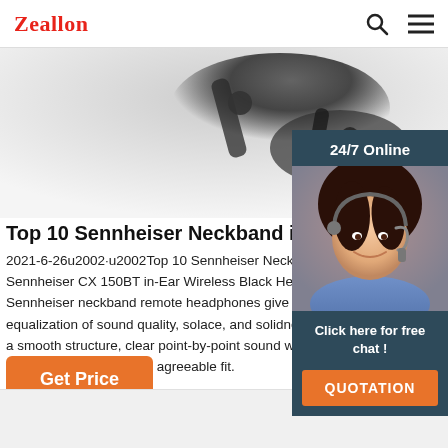Zeallon
[Figure (photo): Partial blurred photo of headphone arms/bracket against light background]
Top 10 Sennheiser Neckband in 2021 - Head
2021-6-26u2002·u2002Top 10 Sennheiser Neckba Sennheiser CX 150BT in-Ear Wireless Black Headp Sennheiser neckband remote headphones give th equalization of sound quality, solace, and solidne a smooth structure, clear point-by-point sound w commotion confinement, agreeable fit.
[Figure (photo): 24/7 Online chat widget with photo of female customer service agent wearing a headset, blue/grey background, with 'Click here for free chat!' text and orange QUOTATION button]
Get Price
QUOTATION